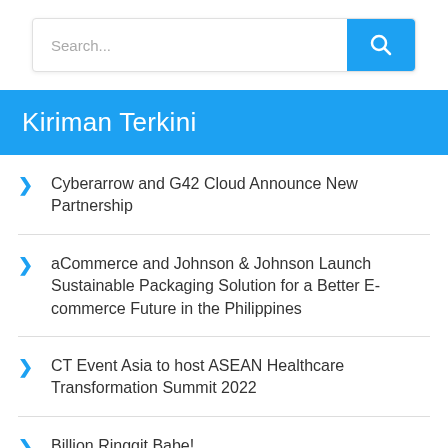[Figure (screenshot): Search bar with text input field showing placeholder 'Search...' and a blue search button with magnifying glass icon]
Kiriman Terkini
Cyberarrow and G42 Cloud Announce New Partnership
aCommerce and Johnson & Johnson Launch Sustainable Packaging Solution for a Better E-commerce Future in the Philippines
CT Event Asia to host ASEAN Healthcare Transformation Summit 2022
Billion Ringgit Babe!